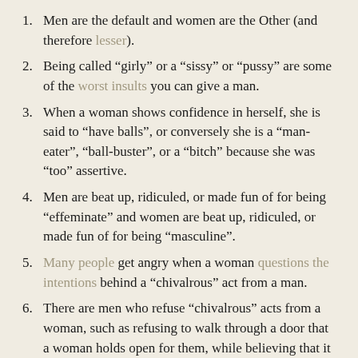Men are the default and women are the Other (and therefore lesser).
Being called “girly” or a “sissy” or “pussy” are some of the worst insults you can give a man.
When a woman shows confidence in herself, she is said to “have balls”, or conversely she is a “man-eater”, “ball-buster”, or a “bitch” because she was “too” assertive.
Men are beat up, ridiculed, or made fun of for being “effeminate” and women are beat up, ridiculed, or made fun of for being “masculine”.
Many people get angry when a woman questions the intentions behind a “chivalrous” act from a man.
There are men who refuse “chivalrous” acts from a woman, such as refusing to walk through a door that a woman holds open for them, while believing that it is rude for a woman to exercise the same right to refuse.
Women can’t express anger without the very real fear